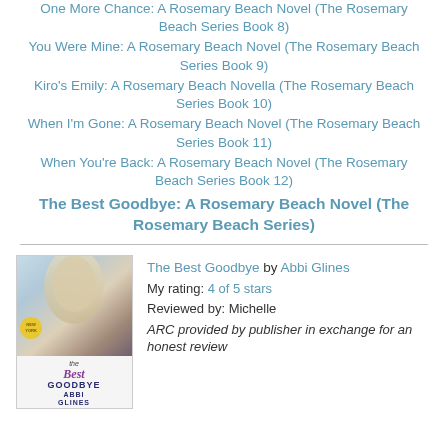One More Chance: A Rosemary Beach Novel (The Rosemary Beach Series Book 8)
You Were Mine: A Rosemary Beach Novel (The Rosemary Beach Series Book 9)
Kiro's Emily: A Rosemary Beach Novella (The Rosemary Beach Series Book 10)
When I'm Gone: A Rosemary Beach Novel (The Rosemary Beach Series Book 11)
When You're Back: A Rosemary Beach Novel (The Rosemary Beach Series Book 12)
The Best Goodbye: A Rosemary Beach Novel (The Rosemary Beach Series)
[Figure (photo): Book cover of The Best Goodbye by Abbi Glines showing a couple and the book title]
The Best Goodbye by Abbi Glines
My rating: 4 of 5 stars
Reviewed by: Michelle
ARC provided by publisher in exchange for an honest review